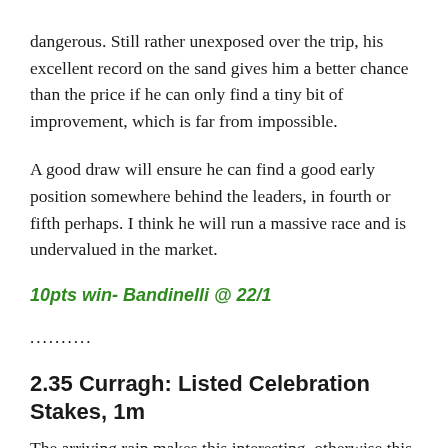dangerous. Still rather unexposed over the trip, his excellent record on the sand gives him a better chance than the price if he can only find a tiny bit of improvement, which is far from impossible.
A good draw will ensure he can find a good early position somewhere behind the leaders, in fourth or fifth perhaps. I think he will run a massive race and is undervalued in the market.
10pts win- Bandinelli @ 22/1
..........
2.35 Curragh: Listed Celebration Stakes, 1m
The arriving rain makes this interesting, otherwise this listed contest would be quite a dull and poor renewal. It is